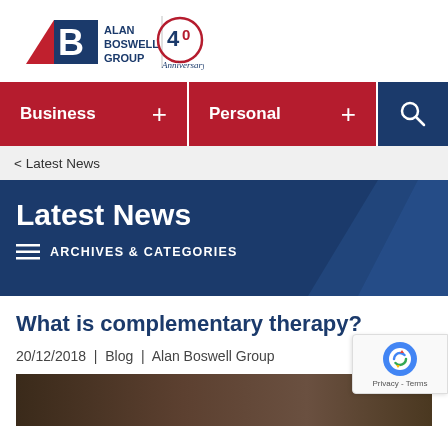[Figure (logo): Alan Boswell Group logo with red triangle and blue B, text 'ALAN BOSWELL GROUP', plus a 40th Anniversary logo with circular design and 'Anniversary' text]
[Figure (infographic): Navigation bar with red 'Business +' button, red 'Personal +' button, and dark blue search icon button]
< Latest News
Latest News
ARCHIVES & CATEGORIES
What is complementary therapy?
20/12/2018  |  Blog  |  Alan Boswell Group
[Figure (photo): Partial photo visible at bottom of page, appears to be a nature or organic subject in dark tones]